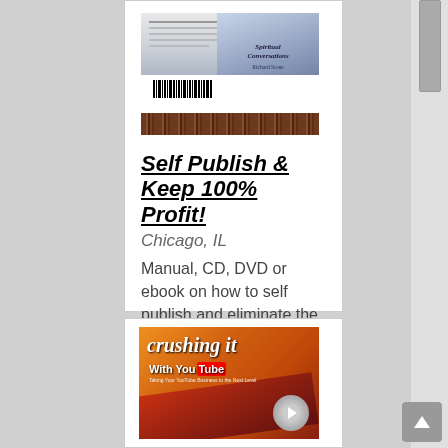[Figure (photo): Book product image with gray/blue cover showing barcode and decorative brown band at bottom]
Self Publish & Keep 100% Profit!
Chicago, IL
Manual, CD, DVD or ebook on how to self publish and eliminate the middleman and keep 100% Profit! Learn how to write the book chapter by chapter, find a local printer, marketing and more. Can't afford ...
more
2 @ $49.00 / ea
[Figure (photo): Crushing It With YouTube product image with orange background and film reel graphic]